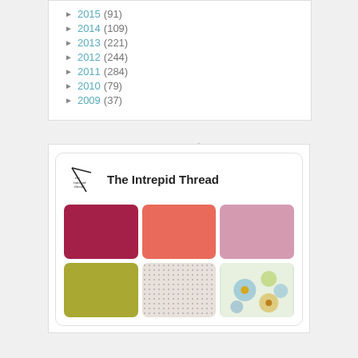► 2015 (91)
► 2014 (109)
► 2013 (221)
► 2012 (244)
► 2011 (284)
► 2010 (79)
► 2009 (37)
Latest Pins
[Figure (other): Pinterest widget showing The Intrepid Thread board with 6 fabric/color swatch images: crimson, coral, pink, olive/green texture, dotted beige, and blue floral pattern]